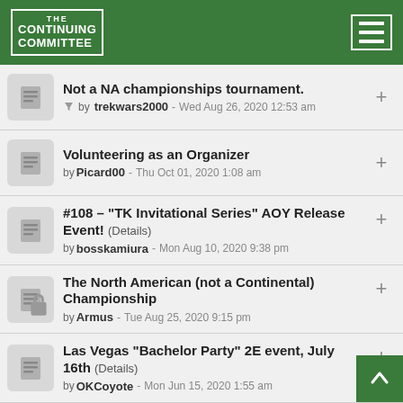The Continuing Committee
Not a NA championships tournament. by trekwars2000 - Wed Aug 26, 2020 12:53 am
Volunteering as an Organizer by Picard00 - Thu Oct 01, 2020 1:08 am
#108 - "TK Invitational Series" AOY Release Event! (Details) by bosskamiura - Mon Aug 10, 2020 9:38 pm
The North American (not a Continental) Championship by Armus - Tue Aug 25, 2020 9:15 pm
Las Vegas "Bachelor Party" 2E event, July 16th (Details) by OKCoyote - Mon Jun 15, 2020 1:55 am
Looking for players near Essex uk